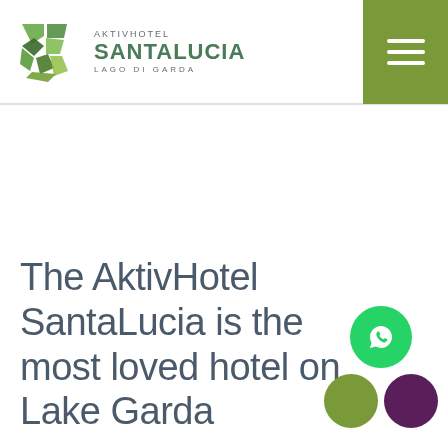AKTIVHOTEL SantaLucia LAGO DI GARDA
The AktivHotel SantaLucia is the most loved hotel on Lake Garda
AND NOT ONLY..